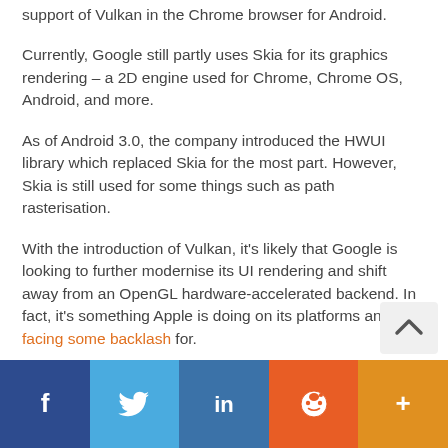support of Vulkan in the Chrome browser for Android.
Currently, Google still partly uses Skia for its graphics rendering – a 2D engine used for Chrome, Chrome OS, Android, and more.
As of Android 3.0, the company introduced the HWUI library which replaced Skia for the most part. However, Skia is still used for some things such as path rasterisation.
With the introduction of Vulkan, it's likely that Google is looking to further modernise its UI rendering and shift away from an OpenGL hardware-accelerated backend. In fact, it's something Apple is doing on its platforms and facing some backlash for.
The engineer wrote in his/her comment:
Facebook Twitter LinkedIn Reddit More